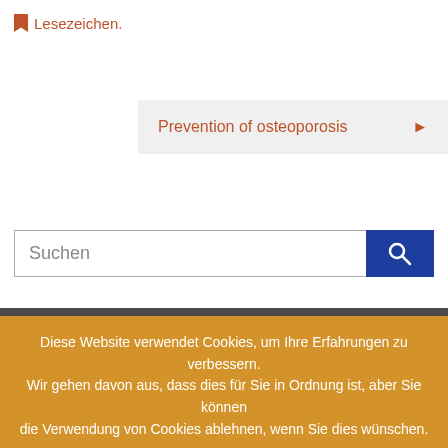Lesezeichen.
Prevention of osteoporosis ▶
Suchen
Diese Website verwendet Cookies, um Ihre Erfahrungen zu verbessern. Wir gehen davon aus, dass dies für Sie in Ordnung ist, aber Sie können die Verwendung von Cookies ablehnen, wenn Sie dies wünschen.
Cookie-Richtlinien
ERLAUBEN